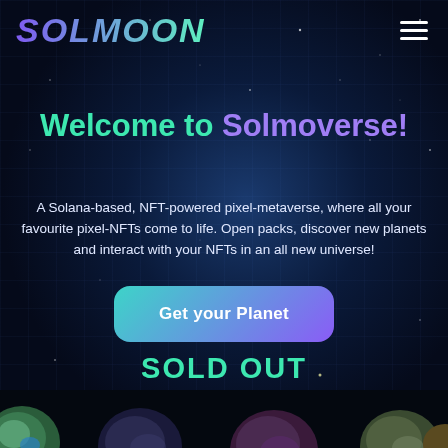SOLMOON
Welcome to Solmoverse!
A Solana-based, NFT-powered pixel-metaverse, where all your favourite pixel-NFTs come to life. Open packs, discover new planets and interact with your NFTs in an all new universe!
Get your Planet
SOLD OUT
[Figure (illustration): Bottom strip showing pixel planet illustrations in a dark space background]